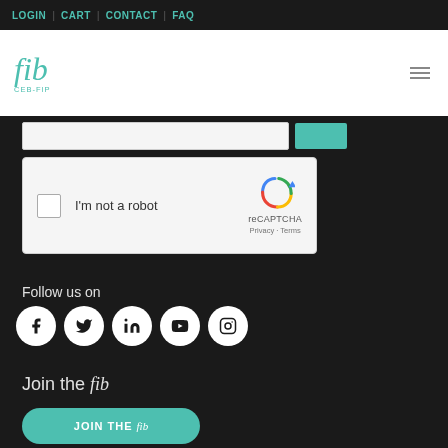LOGIN | CART | CONTACT | FAQ
[Figure (logo): fib CEB-FIP logo in teal cursive script]
[Figure (screenshot): reCAPTCHA widget with checkbox and I'm not a robot label]
Follow us on
[Figure (infographic): Social media icons: Facebook, Twitter, LinkedIn, YouTube, Instagram]
Join the fib
[Figure (screenshot): JOIN THE fib teal button (partially visible)]